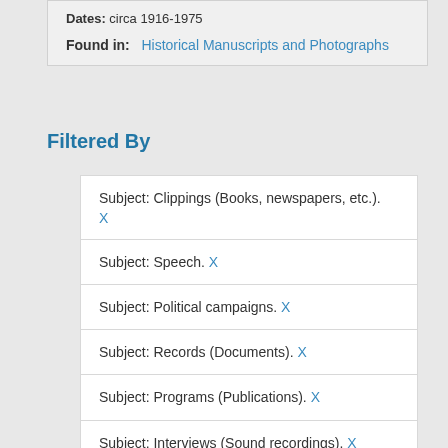Dates: circa 1916-1975
Found in: Historical Manuscripts and Photographs
Filtered By
Subject: Clippings (Books, newspapers, etc.). X
Subject: Speech. X
Subject: Political campaigns. X
Subject: Records (Documents). X
Subject: Programs (Publications). X
Subject: Interviews (Sound recordings). X
Subject: Biographies. X